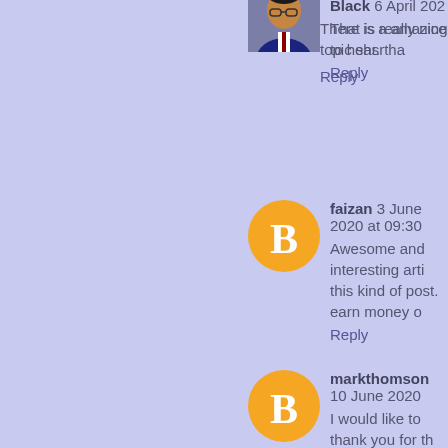There is a amazing topic shsr
Reply
Richard H. Black 6 April 202
[Figure (photo): Profile photo of Richard H. Black, a man in a dark suit]
That is really nice to hear. tha
Reply
[Figure (logo): Orange Blogger 'B' icon circle avatar for faizan]
faizan 3 June 2020 at 09:30
Awesome and interesting arti this kind of post. earn money o
Reply
[Figure (logo): Orange Blogger 'B' icon circle avatar for markthomson]
markthomson 10 June 2020
I would like to thank you for th you in the future as well. Than
Reply